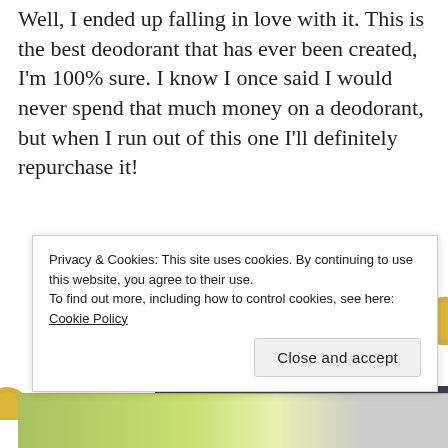Well, I ended up falling in love with it. This is the best deodorant that has ever been created, I'm 100% sure. I know I once said I would never spend that much money on a deodorant, but when I run out of this one I'll definitely repurchase it!
Advertisements
Another favorite of mine is the Isana Frülings Dusche shower gel. I got this one at the Rossmann drugstore in Germany. I was smelling their shower
Privacy & Cookies: This site uses cookies. By continuing to use this website, you agree to their use.
To find out more, including how to control cookies, see here: Cookie Policy
Close and accept